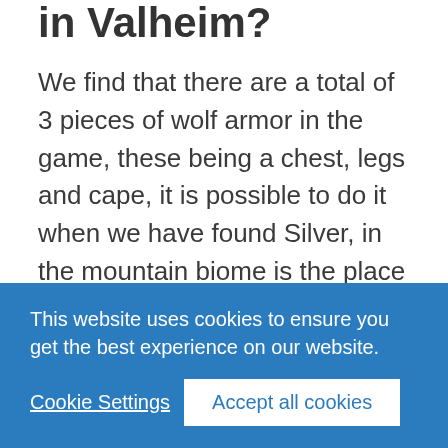in Valheim?
We find that there are a total of 3 pieces of wolf armor in the game, these being a chest, legs and cape, it is possible to do it when we have found Silver, in the mountain biome is the place to find this resource, so it is underground in said biome, so in the meantime we must use another method against the cold, with the mead base we have of the question specifically with the
This website uses cookies to ensure you get the best experience on our website.
Cookie Settings
Accept all cookies